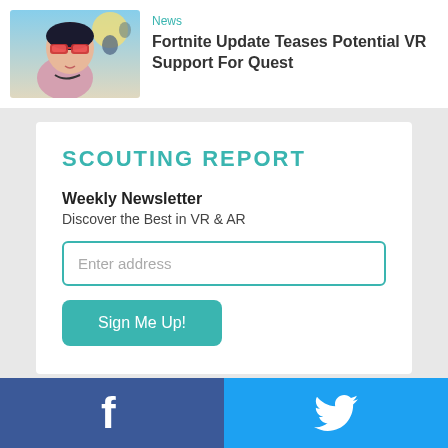[Figure (illustration): Stylized illustration of a woman with sunglasses and flying figures in the background — Fortnite game art]
News
Fortnite Update Teases Potential VR Support For Quest
SCOUTING REPORT
Weekly Newsletter
Discover the Best in VR & AR
Enter address
Sign Me Up!
[Figure (logo): Facebook logo — letter f in white on blue background]
[Figure (logo): Twitter/X logo — bird icon in white on cyan background]